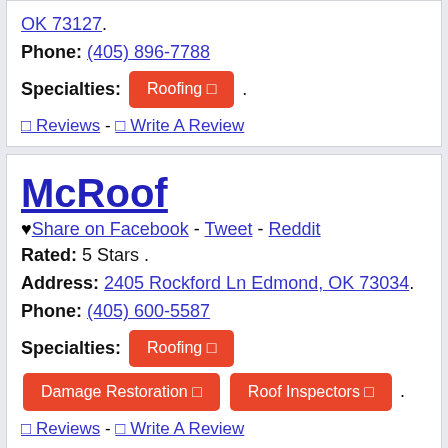OK 73127. Phone: (405) 896-7788 Specialties: Roofing. 0 Reviews - 0 Write A Review
McRoof
♥ Share on Facebook - Tweet - Reddit
Rated: 5 Stars .
Address: 2405 Rockford Ln Edmond, OK 73034.
Phone: (405) 600-5587
Specialties: Roofing  Damage Restoration  Roof Inspectors .
0 Reviews - 0 Write A Review
Terrell Windows